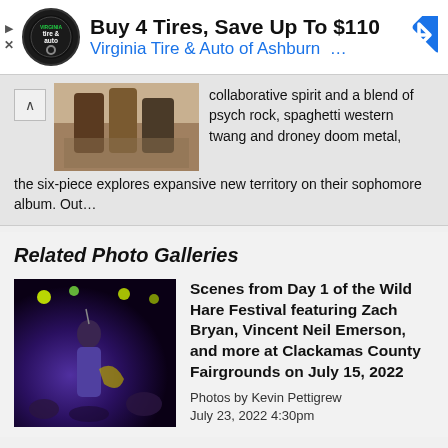[Figure (other): Advertisement banner: Virginia Tire & Auto logo, text 'Buy 4 Tires, Save Up To $110', 'Virginia Tire & Auto of Ashburn …', blue navigation arrow icon]
collaborative spirit and a blend of psych rock, spaghetti western twang and droney doom metal, the six-piece explores expansive new territory on their sophomore album. Out…
Related Photo Galleries
[Figure (photo): Concert photo of a performer singing into a microphone wearing a purple shirt, playing guitar, with stage lighting, at Wild Hare Festival]
Scenes from Day 1 of the Wild Hare Festival featuring Zach Bryan, Vincent Neil Emerson, and more at Clackamas County Fairgrounds on July 15, 2022
Photos by Kevin Pettigrew
July 23, 2022 4:30pm